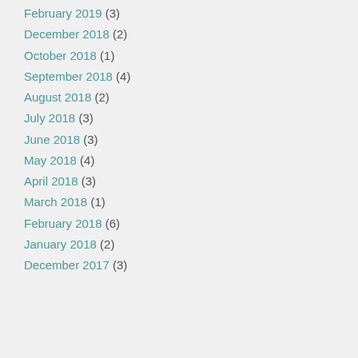February 2019 (3)
December 2018 (2)
October 2018 (1)
September 2018 (4)
August 2018 (2)
July 2018 (3)
June 2018 (3)
May 2018 (4)
April 2018 (3)
March 2018 (1)
February 2018 (6)
January 2018 (2)
December 2017 (3)